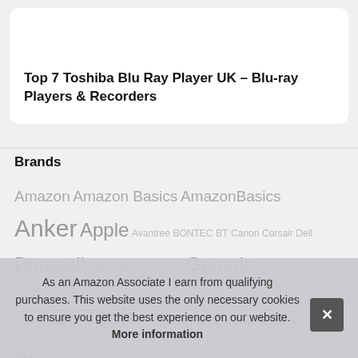Top 7 Toshiba Blu Ray Player UK – Blu-ray Players & Recorders
Brands
Amazon Amazon Basics AmazonBasics Anker Apple Avantree BONTEC BT Canon Corsair Dell Duracell ESR FINTIE Garmin Generic Head Case Designs HP HUAWEI JETech JJC JSAUX K&F Concept Keple KODAK kw... Ne... Sa... Sy...
As an Amazon Associate I earn from qualifying purchases. This website uses the only necessary cookies to ensure you get the best experience on our website. More information